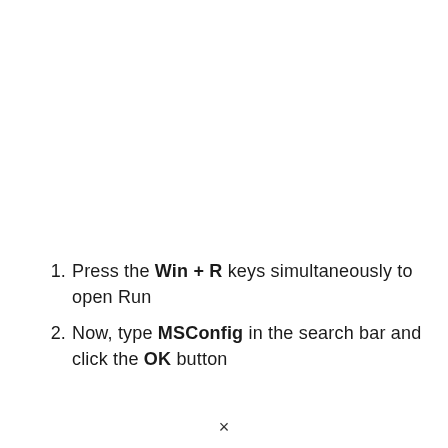Press the Win + R keys simultaneously to open Run
Now, type MSConfig in the search bar and click the OK button